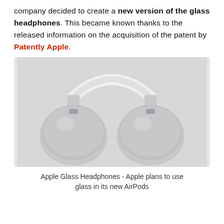company decided to create a new version of the glass headphones. This became known thanks to the released information on the acquisition of the patent by Patently Apple.
[Figure (photo): Photo of Apple AirPods Max headphones in silver/white color on a light gray background, viewed from the front showing both ear cups and the headband.]
Apple Glass Headphones - Apple plans to use glass in its new AirPods